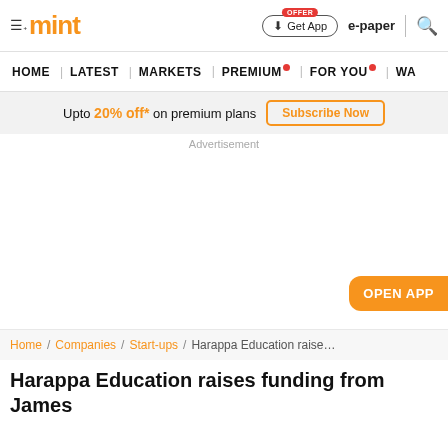mint — Home | Latest | Markets | Premium | For You | WA
Upto 20% off* on premium plans — Subscribe Now
Advertisement
OPEN APP
Home / Companies / Start-ups / Harappa Education raise...
Harappa Education raises funding from James